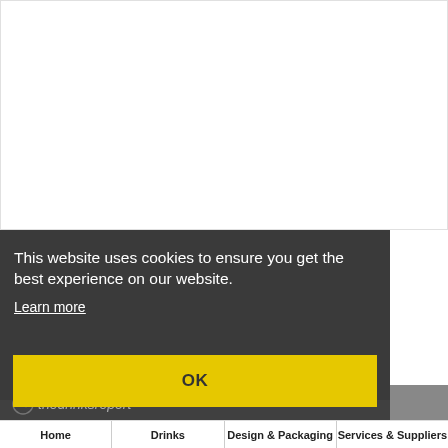[Figure (screenshot): White content area of a website (thedrinksreport) above a cookie consent banner]
This website uses cookies to ensure you get the best experience on our website.
Learn more
OK
[Figure (logo): thedrinksreport logo in grey/white italic text with a circular icon]
Home | Drinks | Design & Packaging | Services & Suppliers